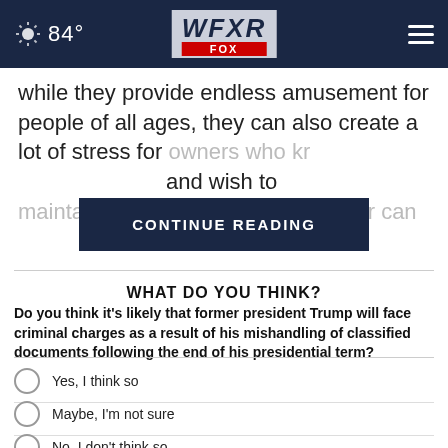84° WFXR FOX
while they provide endless amusement for people of all ages, they can also create a lot of stress for owners who kr... and wish to maintain their... ver can
CONTINUE READING
WHAT DO YOU THINK?
Do you think it's likely that former president Trump will face criminal charges as a result of his mishandling of classified documents following the end of his presidential term?
Yes, I think so
Maybe, I'm not sure
No, I don't think so
Other / No opinion